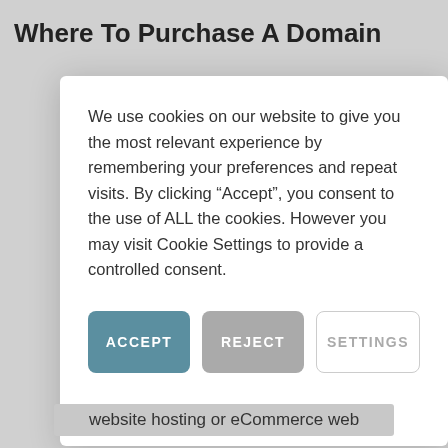Where To Purchase A Domain
[Figure (screenshot): Cookie consent modal dialog with Accept, Reject, and Settings buttons over a webpage background]
We use cookies on our website to give you the most relevant experience by remembering your preferences and repeat visits. By clicking “Accept”, you consent to the use of ALL the cookies. However you may visit Cookie Settings to provide a controlled consent.
website hosting or eCommerce web